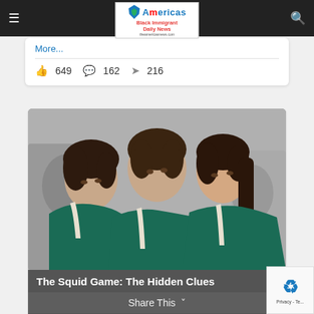Americas Black Immigrant Daily News
More...
649  162  216
[Figure (photo): Three young Asian women in green tracksuits huddled close together, black and white background with other people visible]
The Squid Game: The Hidden Clues
Share This
More...